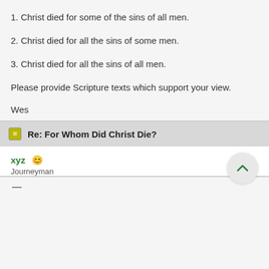1. Christ died for some of the sins of all men.
2. Christ died for all the sins of some men.
3. Christ died for all the sins of all men.
Please provide Scripture texts which support your view.
Wes
Re: For Whom Did Christ Die?
xyz Journeyman